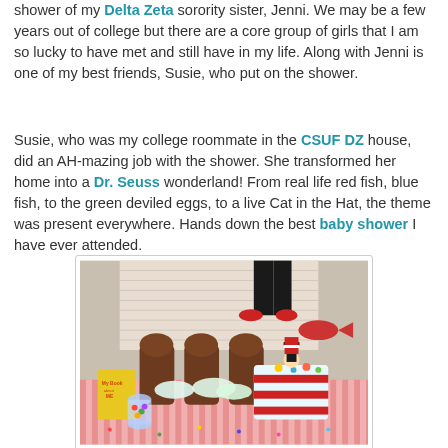shower of my Delta Zeta sorority sister, Jenni. We may be a few years out of college but there are a core group of girls that I am so lucky to have met and still have in my life. Along with Jenni is one of my best friends, Susie, who put on the shower.
Susie, who was my college roommate in the CSUF DZ house, did an AH-mazing job with the shower. She transformed her home into a Dr. Seuss wonderland! From real life red fish, blue fish, to the green deviled eggs, to a live Cat in the Hat, the theme was present everywhere. Hands down the best baby shower I have ever attended.
[Figure (photo): A Dr. Seuss themed baby shower table display with a colorful tiered cake topped with a Cat in the Hat figurine, candy jars, fluffy white decorations, a yellow book, chairs in the background, and confetti on the tablecloth.]